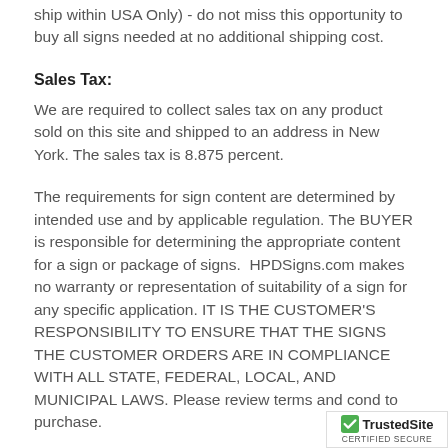ship within USA Only) - do not miss this opportunity to buy all signs needed at no additional shipping cost.
Sales Tax:
We are required to collect sales tax on any product sold on this site and shipped to an address in New York. The sales tax is 8.875 percent.
The requirements for sign content are determined by intended use and by applicable regulation. The BUYER is responsible for determining the appropriate content for a sign or package of signs. HPDSigns.com makes no warranty or representation of suitability of a sign for any specific application. IT IS THE CUSTOMER'S RESPONSIBILITY TO ENSURE THAT THE SIGNS THE CUSTOMER ORDERS ARE IN COMPLIANCE WITH ALL STATE, FEDERAL, LOCAL, AND MUNICIPAL LAWS. Please review terms and cond to purchase.
[Figure (logo): TrustedSite Certified Secure badge in bottom right corner]